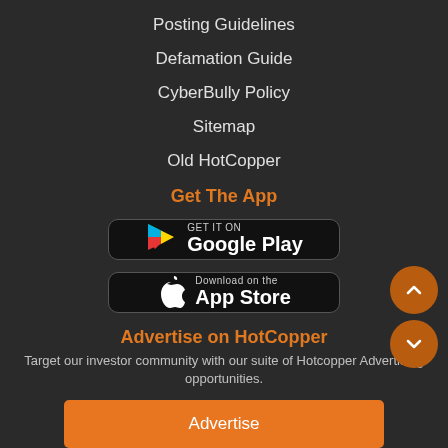Posting Guidelines
Defamation Guide
CyberBully Policy
Sitemap
Old HotCopper
Get The App
[Figure (logo): Google Play store badge — black rounded rectangle with Google Play triangle logo and text GET IT ON Google Play]
[Figure (logo): Apple App Store badge — black rounded rectangle with Apple logo and text Download on the App Store]
Advertise on HotCopper
Target our investor community with our suite of Hotcopper Advertising opportunities.
Advertise